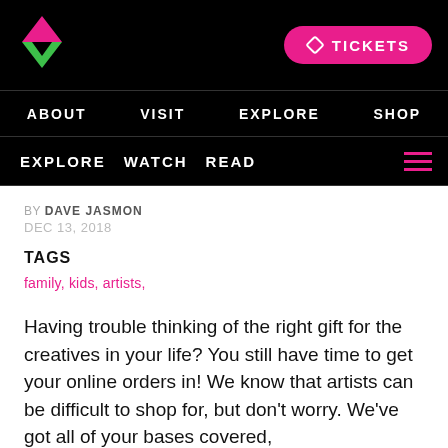TICKETS
ABOUT  VISIT  EXPLORE  SHOP
EXPLORE  WATCH  READ
BY DAVE JASMON
DEC 13, 2018
TAGS
family, kids, artists,
Having trouble thinking of the right gift for the creatives in your life? You still have time to get your online orders in! We know that artists can be difficult to shop for, but don't worry. We've got all of your bases covered,